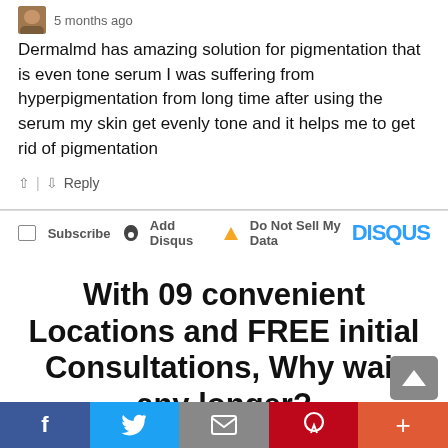5 months ago
Dermalmd has amazing solution for pigmentation that is even tone serum I was suffering from hyperpigmentation from long time after using the serum my skin get evenly tone and it helps me to get rid of pigmentation
Reply
Subscribe  Add Disqus  Do Not Sell My Data  DISQUS
With 09 convenient Locations and FREE initial Consultations, Why wait any longer?
Come in and see the many ways we can make you look and feel sexy, smooth, and confident in your skin.